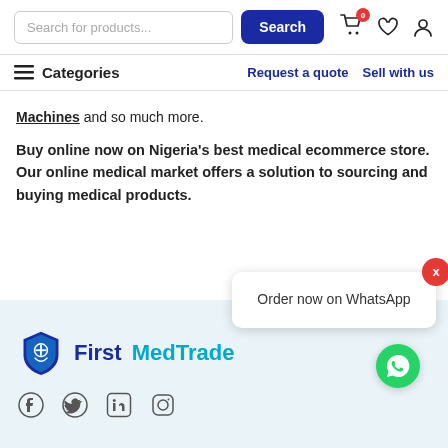Search for products... Search
Categories | Request a quote | Sell with us
Machines and so much more.
Buy online now on Nigeria's best medical ecommerce store. Our online medical market offers a solution to sourcing and buying medical products.
[Figure (logo): FirstMedTrade logo with shield icon, blue and cyan text]
[Figure (infographic): Social media icons: Facebook, Twitter, LinkedIn, Instagram]
Order now on WhatsApp